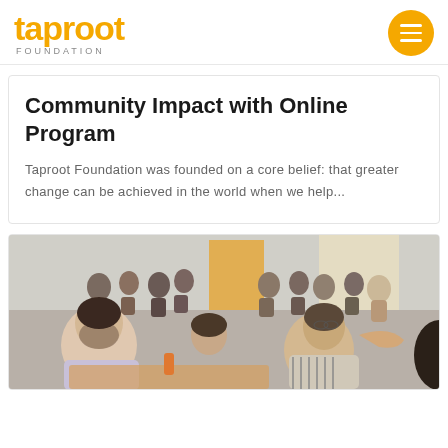taproot FOUNDATION
Community Impact with Online Program
Taproot Foundation was founded on a core belief: that greater change can be achieved in the world when we help...
[Figure (photo): Group of people sitting at tables in a community meeting or workshop setting, engaged in conversation.]